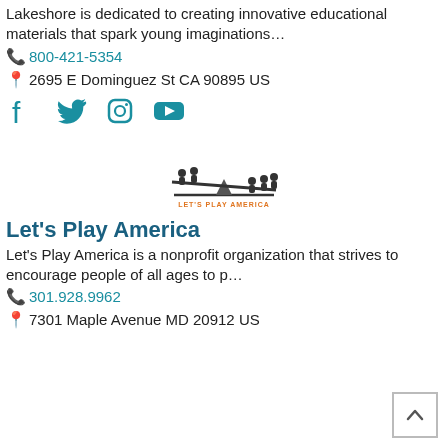Lakeshore is dedicated to creating innovative educational materials that spark young imaginations…
📞 800-421-5354
📍 2695 E Dominguez St CA 90895 US
[Figure (logo): Social media icons: Facebook, Twitter, Instagram, YouTube in teal color]
[Figure (logo): Let's Play America logo — children on a seesaw illustration with orange text 'LET'S PLAY AMERICA']
Let's Play America
Let's Play America is a nonprofit organization that strives to encourage people of all ages to p…
📞 301.928.9962
📍 7301 Maple Avenue MD 20912 US